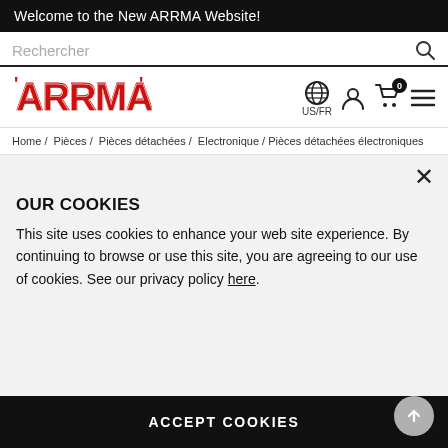Welcome to the New ARRMA Website!
Rechercher
[Figure (logo): ARRMA logo in red with stylized lettering]
US/FR
Home / Pièces / Pièces détachées / Electronique / Pièces détachées électroniques
OUR COOKIES
This site uses cookies to enhance your web site experience. By continuing to browse or use this site, you are agreeing to our use of cookies. See our privacy policy here.
ACCEPT COOKIES